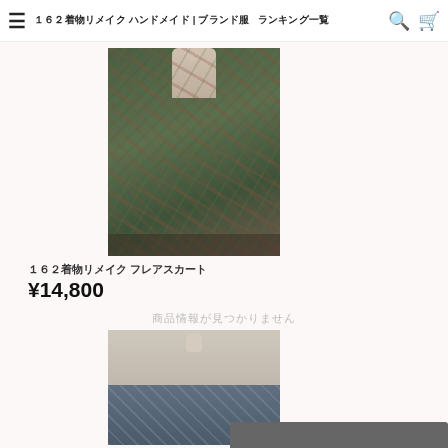１６２着物リメイク ハンドメイド | ブランド服 ランキング一覧
[Figure (photo): Vintage floral tapestry skirt on a mannequin, dark green with floral pattern]
１６２着物リメイク フレアスカート
¥14,800
商品情報が見つかりません
[Figure (photo): Vintage floral skirt with beige top on a mannequin, blue floral pattern on dark background]